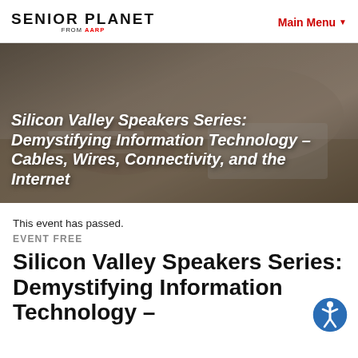SENIOR PLANET FROM AARP | Main Menu
[Figure (photo): Person writing in notebook with laptop on desk, seen from above, close-up of hands]
Silicon Valley Speakers Series: Demystifying Information Technology – Cables, Wires, Connectivity, and the Internet
This event has passed.
EVENT FREE
Silicon Valley Speakers Series: Demystifying Information Technology –